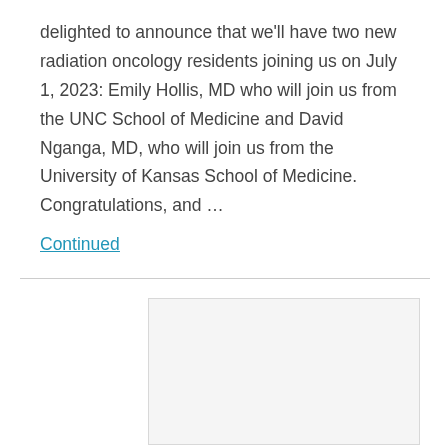delighted to announce that we'll have two new radiation oncology residents joining us on July 1, 2023: Emily Hollis, MD who will join us from the UNC School of Medicine and David Nganga, MD, who will join us from the University of Kansas School of Medicine. Congratulations, and …
Continued
[Figure (other): Image placeholder box, light gray with border, partially visible at bottom of page]